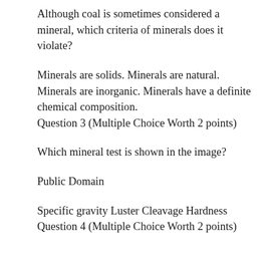Although coal is sometimes considered a mineral, which criteria of minerals does it violate?
Minerals are solids. Minerals are natural. Minerals are inorganic. Minerals have a definite chemical composition.
Question 3 (Multiple Choice Worth 2 points)
Which mineral test is shown in the image?
Public Domain
Specific gravity Luster Cleavage Hardness
Question 4 (Multiple Choice Worth 2 points)